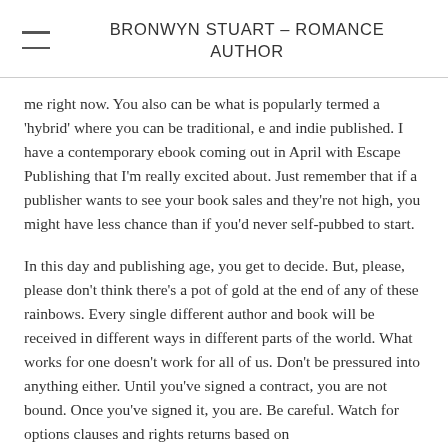BRONWYN STUART – ROMANCE AUTHOR
me right now. You also can be what is popularly termed a 'hybrid' where you can be traditional, e and indie published. I have a contemporary ebook coming out in April with Escape Publishing that I'm really excited about. Just remember that if a publisher wants to see your book sales and they're not high, you might have less chance than if you'd never self-pubbed to start.
In this day and publishing age, you get to decide. But, please, please don't think there's a pot of gold at the end of any of these rainbows. Every single different author and book will be received in different ways in different parts of the world. What works for one doesn't work for all of us. Don't be pressured into anything either. Until you've signed a contract, you are not bound. Once you've signed it, you are. Be careful. Watch for options clauses and rights returns based on